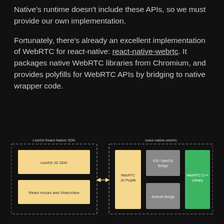Native's runtime doesn't include these APIs, so we must provide our own implementation.
Fortunately, there's already an excellent implementation of WebRTC for react-native: react-native-webrtc. It packages native WebRTC libraries from Chromium, and provides polyfills for WebRTC APIs by bridging to native wrapper code.
[Figure (engineering-diagram): Architecture diagram showing two dashed-border boxes. Left box labeled 'LiveKit React-Native SDK' contains two yellow panels: 'LiveKit JS SDK' and 'React Hooks and VideoView'. An arrow points right to the second box labeled 'react-native-webrtc' which contains: a yellow 'WebRTC JS Polyfill' panel, two gray panels 'iOS / MacOS Bridge' and 'Android Bridge', and a green 'WebRTC C++ Library' panel.]